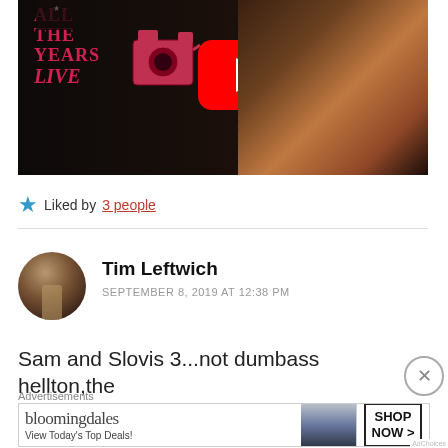[Figure (screenshot): YouTube video thumbnail showing 'All The Years Live' with a Grateful Dead logo, camera graphic, YouTube play button, and a person at a microphone]
★ Liked by 3 people
Tim Leftwich
SEPTEMBER 8, 2019 AT 12:38 PM
Sam and Slovis 3...not dumbass hellton,the
Advertisements
bloomingdales View Today's Top Deals! SHOP NOW >